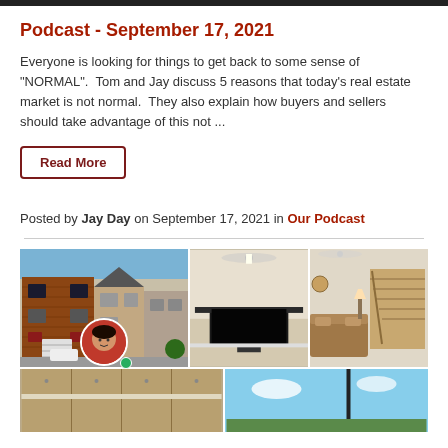Podcast - September 17, 2021
Everyone is looking for things to get back to some sense of "NORMAL".  Tom and Jay discuss 5 reasons that today's real estate market is not normal.  They also explain how buyers and sellers should take advantage of this not ...
Read More
Posted by Jay Day on September 17, 2021 in Our Podcast
[Figure (photo): Collage of property listing photos showing exterior of brick townhome, interior living room with TV, staircase and living area, kitchen, bedroom ceiling fan, and outdoor area. Small avatar circle of agent photo with green online indicator dot.]